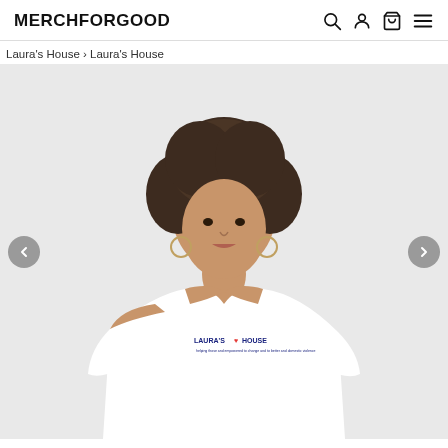MERCHFORGOOD
Laura's House › Laura's House
[Figure (photo): A woman wearing a white off-shoulder t-shirt with Laura's House logo printed on it, against a light gray background. Navigation arrows on left and right sides.]